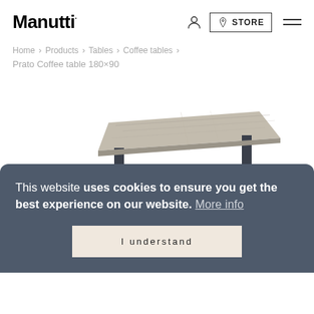Manutti
Home › Products › Tables › Coffee tables › Prato Coffee table 180×90
[Figure (photo): Product photo of the Prato Coffee table 180×90 by Manutti, showing a rectangular low coffee table with a grey stone/ceramic top and dark metal frame legs, photographed at an angle on a white background.]
This website uses cookies to ensure you get the best experience on our website. More info
I understand